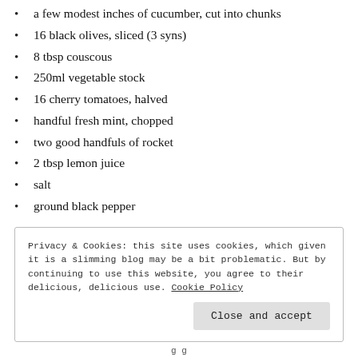a few modest inches of cucumber, cut into chunks
16 black olives, sliced (3 syns)
8 tbsp couscous
250ml vegetable stock
16 cherry tomatoes, halved
handful fresh mint, chopped
two good handfuls of rocket
2 tbsp lemon juice
salt
ground black pepper
Privacy & Cookies: this site uses cookies, which given it is a slimming blog may be a bit problematic. But by continuing to use this website, you agree to their delicious, delicious use. Cookie Policy
Close and accept